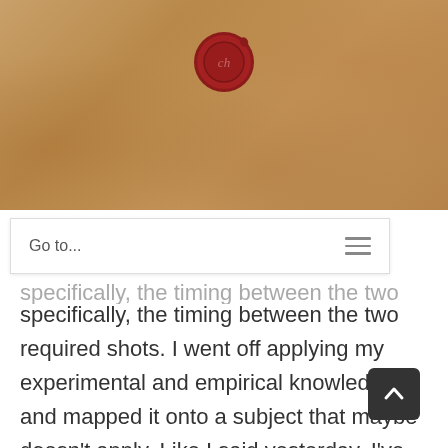[Figure (illustration): Parchment-style banner header with a red wax seal in the center]
Go to...
specifically, the timing between the two required shots. I went off applying my experimental and empirical knowledge, and mapped it onto a subject that maybe doesn't apply. Like I said yesterday, I've built IKEA furniture without reading the manual; the wooden pegs go in these holes, the round rotating fastening things obviously go in those big holes, the metal things they ch to go in these smaller holes; it's not rocket